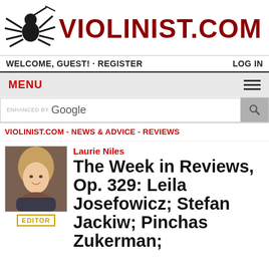[Figure (logo): Violinist.com logo with spider/musician silhouette and dark red VIOLINIST.COM text]
WELCOME, GUEST! · REGISTER    LOG IN
MENU
ENHANCED BY Google (search bar)
VIOLINIST.COM - NEWS & ADVICE - REVIEWS
[Figure (photo): Headshot photo of Laurie Niles, a woman with blonde hair, smiling]
Laurie Niles
EDITOR
The Week in Reviews, Op. 329: Leila Josefowicz; Stefan Jackiw; Pinchas Zukerman;